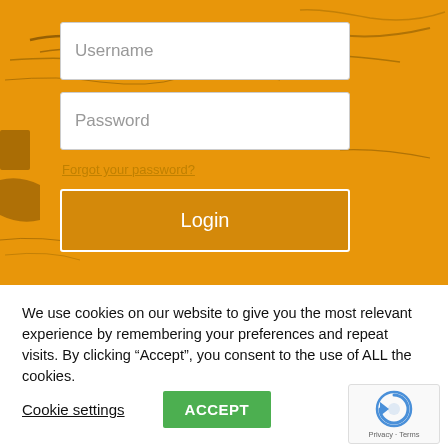[Figure (screenshot): Orange/yellow textured painted wall background with cracks and scratches, serving as the background for a login form. The form contains a Username input field, a Password input field, a 'Forgot your password?' link, and a Login button partially visible at the bottom.]
We use cookies on our website to give you the most relevant experience by remembering your preferences and repeat visits. By clicking “Accept”, you consent to the use of ALL the cookies.
Cookie settings
ACCEPT